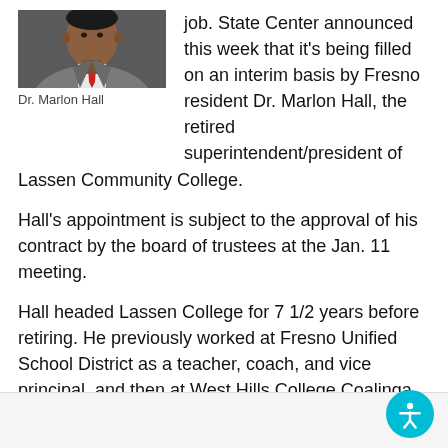[Figure (photo): Head and shoulders photo of Dr. Marlon Hall in a suit and red tie]
Dr. Marlon Hall
job. State Center announced this week that it's being filled on an interim basis by Fresno resident Dr. Marlon Hall, the retired superintendent/president of Lassen Community College.
Hall's appointment is subject to the approval of his contract by the board of trustees at the Jan. 11 meeting.
Hall headed Lassen College for 7 1/2 years before retiring. He previously worked at Fresno Unified School District as a teacher, coach, and vice principal, and then at West Hills College Coalinga as vice president of student services and other positions.